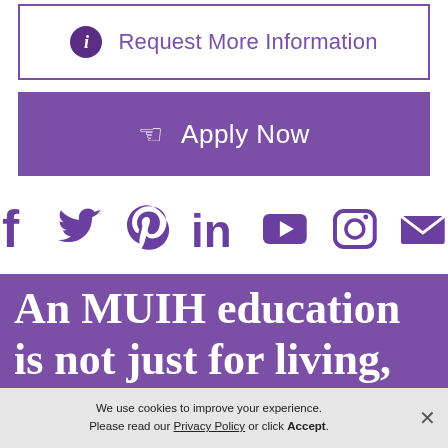[Figure (other): Request More Information button with purple info icon and purple border]
[Figure (other): Apply Now button with hand/cursor icon on purple background]
[Figure (other): Social media icons row: Facebook, Twitter, Pinterest, LinkedIn, YouTube, Instagram, Email — all in purple]
An MUIH education is not just for living, but for life
We use cookies to improve your experience. Please read our Privacy Policy or click Accept.